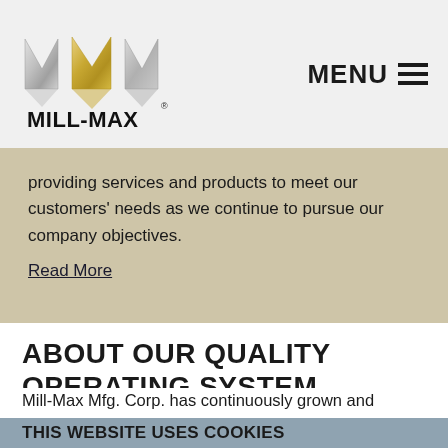[Figure (logo): Mill-Max logo with silver and gold stylized M shapes above the text MILL-MAX]
MENU ☰
providing services and products to meet our customers' needs as we continue to pursue our company objectives. Read More
ABOUT OUR QUALITY OPERATING SYSTEM
Mill-Max Mfg. Corp. has continuously grown and developed for over 50 years. Due to the diversified industries our products are used in, our customers
THIS WEBSITE USES COOKIES